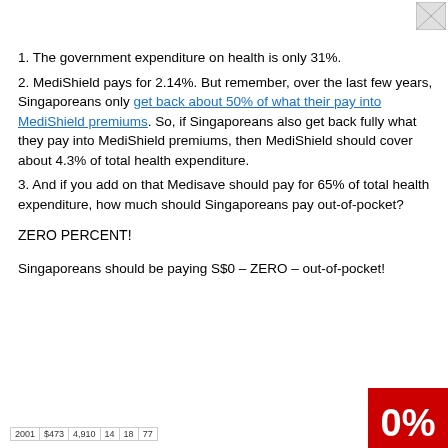[Figure (logo): Small image/logo in top-right corner]
1. The government expenditure on health is only 31%.
2. MediShield pays for 2.14%. But remember, over the last few years, Singaporeans only get back about 50% of what their pay into MediShield premiums. So, if Singaporeans also get back fully what they pay into MediShield premiums, then MediShield should cover about 4.3% of total health expenditure.
3. And if you add on that Medisave should pay for 65% of total health expenditure, how much should Singaporeans pay out-of-pocket?
ZERO PERCENT!
Singaporeans should be paying S$0 – ZERO – out-of-pocket!
Privacy & Cookies: This site uses cookies. By continuing to use this website, you agree to their use. To find out more, including how to control cookies, see here: Cookie Policy